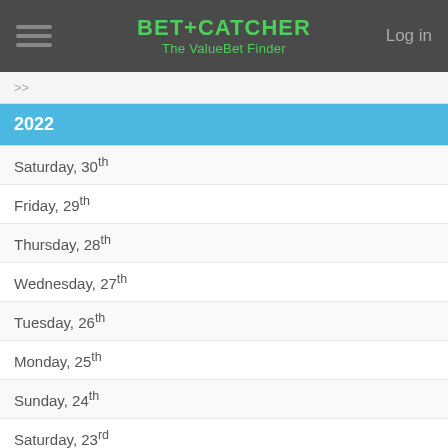BET+CATCHER The ValueBet Finder | Log in
2022
Saturday, 30th
Friday, 29th
Thursday, 28th
Wednesday, 27th
Tuesday, 26th
Monday, 25th
Sunday, 24th
Saturday, 23rd
Friday, 22nd
Thursday, 21st
Wednesday, 20th